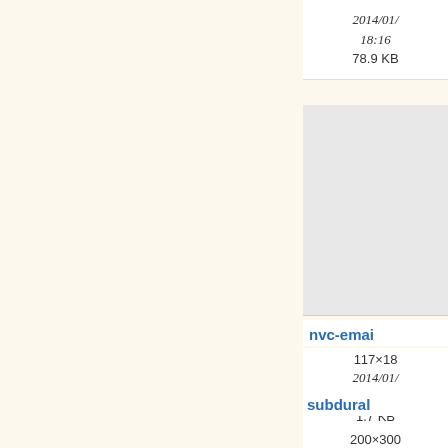2014/01/
18:16
78.9 KB
[Figure (screenshot): Gray thumbnail image placeholder]
nvc-emai
117×18
2014/01/
18:16
1.7 KB
[Figure (screenshot): Gray thumbnail image placeholder]
subdural
200×300